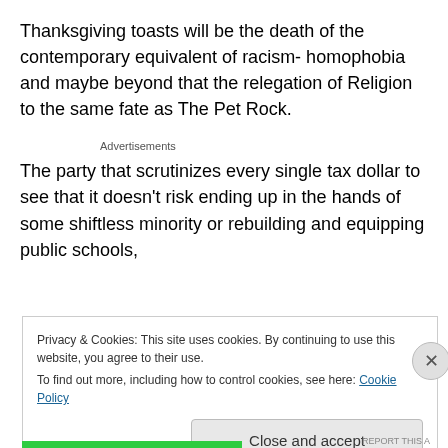Thanksgiving toasts will be the death of the contemporary equivalent of racism- homophobia and maybe beyond that the relegation of Religion to the same fate as The Pet Rock.
Advertisements
The party that scrutinizes every single tax dollar to see that it doesn't risk ending up in the hands of some shiftless minority or rebuilding and equipping public schools,
Privacy & Cookies: This site uses cookies. By continuing to use this website, you agree to their use.
To find out more, including how to control cookies, see here: Cookie Policy
Close and accept